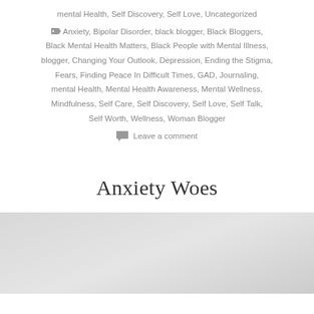mental Health, Self Discovery, Self Love, Uncategorized
Anxiety, Bipolar Disorder, black blogger, Black Bloggers, Black Mental Health Matters, Black People with Mental Illness, blogger, Changing Your Outlook, Depression, Ending the Stigma, Fears, Finding Peace In Difficult Times, GAD, Journaling, mental Health, Mental Health Awareness, Mental Wellness, Mindfulness, Self Care, Self Discovery, Self Love, Self Talk, Self Worth, Wellness, Woman Blogger
Leave a comment
Anxiety Woes
[Figure (photo): Light gray placeholder image at the bottom of the page]